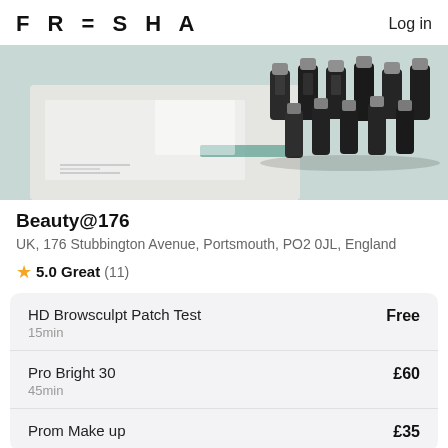FRESHA   Log in
[Figure (photo): Photo of beauty/eyelash product bottles (small dark glass bottles with silver caps) arranged on a white surface with packaging/paperwork, teal accent colors visible.]
Beauty@176
UK, 176 Stubbington Avenue, Portsmouth, PO2 0JL, England
⭐ 5.0 Great (11)
| Service | Price |
| --- | --- |
| HD Browsculpt Patch Test
15min | Free |
| Pro Bright 30
45min | £60 |
| Prom Make up | £35 |